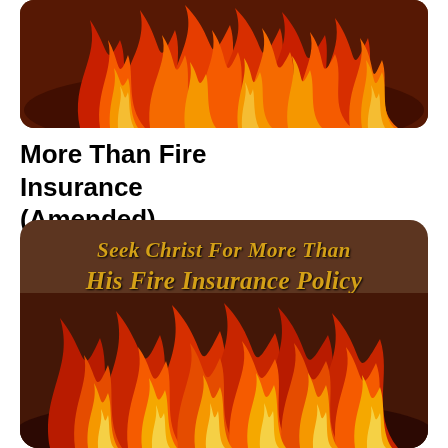[Figure (illustration): Illustrated flames in red, orange, and yellow on a dark brown rounded rectangle background]
More Than Fire Insurance (Amended)
[Figure (illustration): Dark brown rounded rectangle card with gold italic text reading 'Seek Christ For More Than His Fire Insurance Policy' above illustrated flames in red, orange, and yellow]